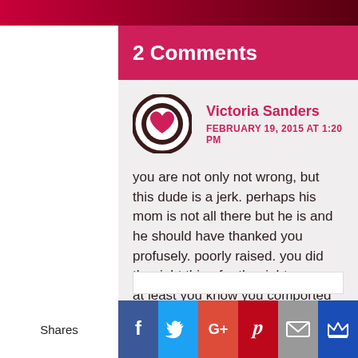2 Comments
Victoria Sanders
FEBRUARY 19, 2015 AT 1:20 PM
you are not only not wrong, but this dude is a jerk. perhaps his mom is not all there but he is and he should have thanked you profusely. poorly raised. you did the right thing for the right reason. at least you know you comported yourself elegantly.
REPLY